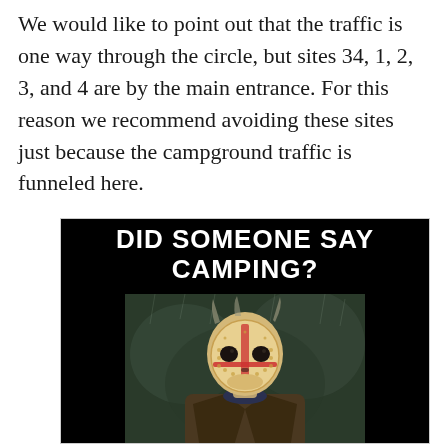We would like to point out that the traffic is one way through the circle, but sites 34, 1, 2, 3, and 4 are by the main entrance. For this reason we recommend avoiding these sites just because the campground traffic is funneled here.
[Figure (photo): A meme image with black background showing Jason Voorhees (horror movie character wearing a hockey mask and dark jacket) with bold white text reading 'DID SOMEONE SAY CAMPING?']